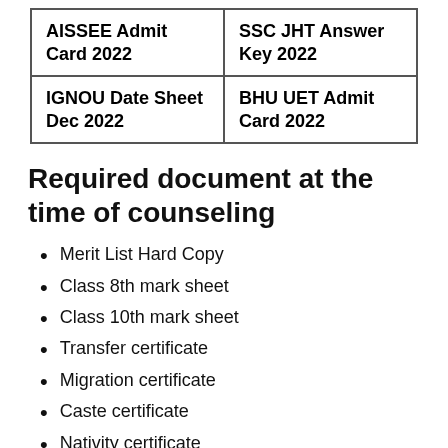| AISSEE Admit Card 2022 | SSC JHT Answer Key 2022 |
| IGNOU Date Sheet Dec 2022 | BHU UET Admit Card 2022 |
Required document at the time of counseling
Merit List Hard Copy
Class 8th mark sheet
Class 10th mark sheet
Transfer certificate
Migration certificate
Caste certificate
Nativity certificate
Passport size photograph